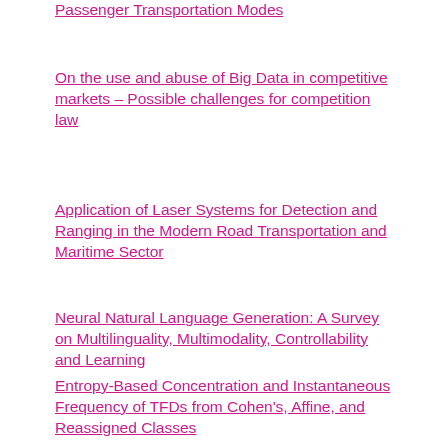Passenger Transportation Modes
On the use and abuse of Big Data in competitive markets – Possible challenges for competition law
Application of Laser Systems for Detection and Ranging in the Modern Road Transportation and Maritime Sector
Neural Natural Language Generation: A Survey on Multilinguality, Multimodality, Controllability and Learning
Entropy-Based Concentration and Instantaneous Frequency of TFDs from Cohen's, Affine, and Reassigned Classes